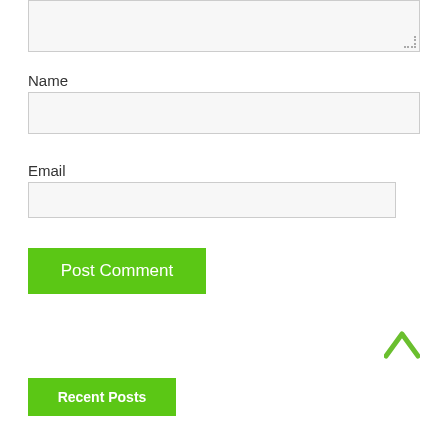[Figure (screenshot): Textarea input box at the top of the page, partially visible, with a resize handle in the bottom-right corner]
Name
[Figure (screenshot): Name text input field, empty, with light grey background]
Email
[Figure (screenshot): Email text input field, empty, with light grey background]
[Figure (screenshot): Green 'Post Comment' button]
[Figure (screenshot): Green upward chevron/arrow icon for scrolling to top]
[Figure (screenshot): Green 'Recent Posts' section header button, partially visible at bottom]